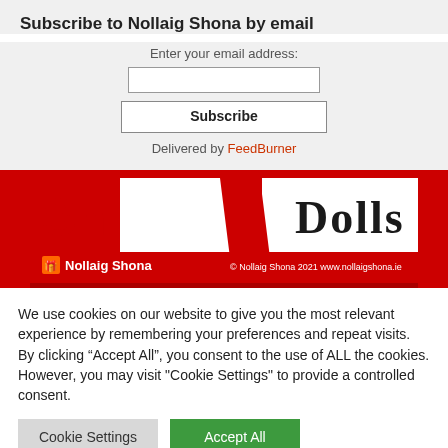Subscribe to Nollaig Shona by email
Enter your email address:
Subscribe
Delivered by FeedBurner
[Figure (photo): Partial view of a Nollaig Shona branded image with red and white design, showing partial text 'Shona' and 'Dolls' with Nollaig Shona logo and copyright 2021 www.nollaigshona.ie]
We use cookies on our website to give you the most relevant experience by remembering your preferences and repeat visits. By clicking “Accept All”, you consent to the use of ALL the cookies. However, you may visit "Cookie Settings" to provide a controlled consent.
Cookie Settings
Accept All